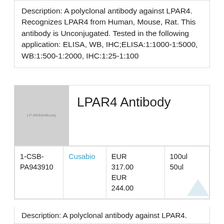Description: A polyclonal antibody against LPAR4. Recognizes LPAR4 from Human, Mouse, Rat. This antibody is Unconjugated. Tested in the following application: ELISA, WB, IHC;ELISA:1:1000-1:5000, WB:1:500-1:2000, IHC:1:25-1:100
[Figure (photo): Product image placeholder for LPAR4 Antibody showing grey square with text 'LP AR4Antibody']
LPAR4 Antibody
| Catalog | Vendor | Price | Size |
| --- | --- | --- | --- |
| 1-CSB-PA943910 | Cusabio | EUR 317.00 EUR 244.00 | 100ul 50ul |
Description: A polyclonal antibody against LPAR4.